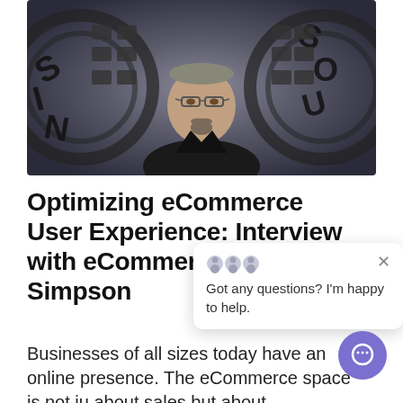[Figure (photo): A man with glasses and a goatee wearing a dark shirt, standing in front of a circular logo or sign with letters visible on either side.]
Optimizing eCommerce User Experience: Interview with eCommerce Specialist Simpson
Businesses of all sizes today have an online presence. The eCommerce space is not just about sales but about establishing a credible